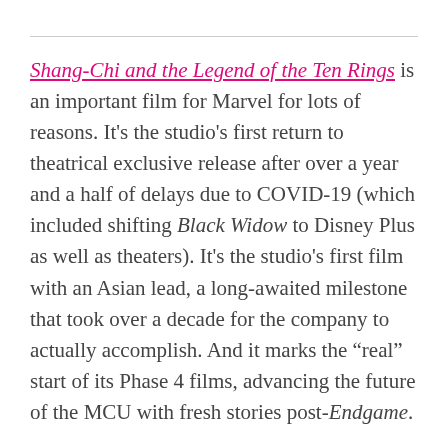Shang-Chi and the Legend of the Ten Rings is an important film for Marvel for lots of reasons. It's the studio's first return to theatrical exclusive release after over a year and a half of delays due to COVID-19 (which included shifting Black Widow to Disney Plus as well as theaters). It's the studio's first film with an Asian lead, a long-awaited milestone that took over a decade for the company to actually accomplish. And it marks the “real” start of its Phase 4 films, advancing the future of the MCU with fresh stories post-Endgame.